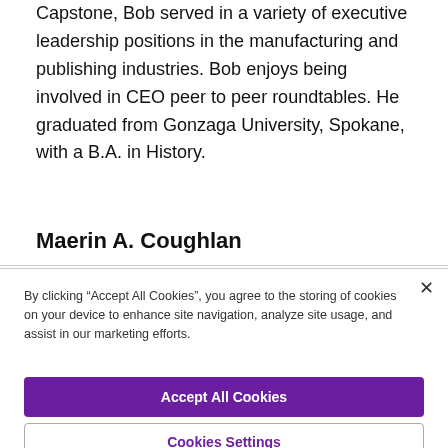Capstone, Bob served in a variety of executive leadership positions in the manufacturing and publishing industries. Bob enjoys being involved in CEO peer to peer roundtables. He graduated from Gonzaga University, Spokane, with a B.A. in History.
Maerin A. Coughlan
By clicking “Accept All Cookies”, you agree to the storing of cookies on your device to enhance site navigation, analyze site usage, and assist in our marketing efforts.
Accept All Cookies
Cookies Settings